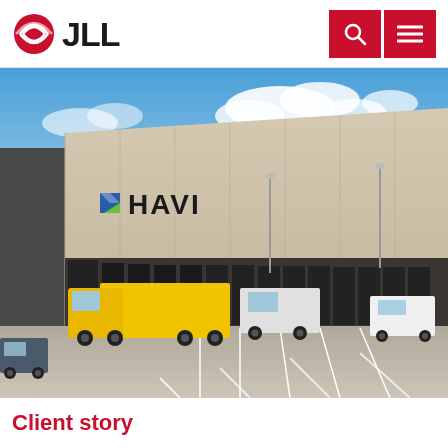JLL
[Figure (photo): Exterior view of a large HAVI branded logistics/warehouse facility with loading docks. A yellow semi-truck and white truck are parked at the docks. A white van is visible on the right. The building has the HAVI logo with blue and green chevron marks. Parking lot in foreground with white line markings.]
Client story